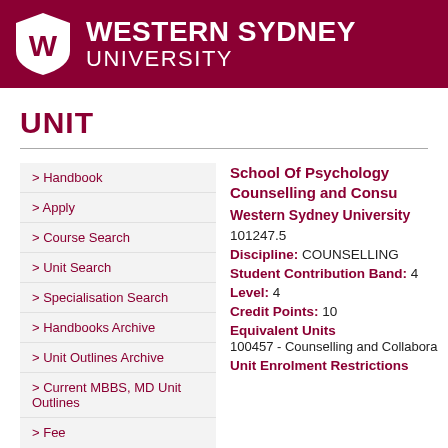[Figure (logo): Western Sydney University logo with shield and text]
UNIT
> Handbook
> Apply
> Course Search
> Unit Search
> Specialisation Search
> Handbooks Archive
> Unit Outlines Archive
> Current MBBS, MD Unit Outlines
> Fees
School Of Psychology Counselling and Consu...
Western Sydney University
101247.5
Discipline: COUNSELLING
Student Contribution Band: 4
Level: 4
Credit Points: 10
Equivalent Units
100457 - Counselling and Collabora...
Unit Enrolment Restrictions